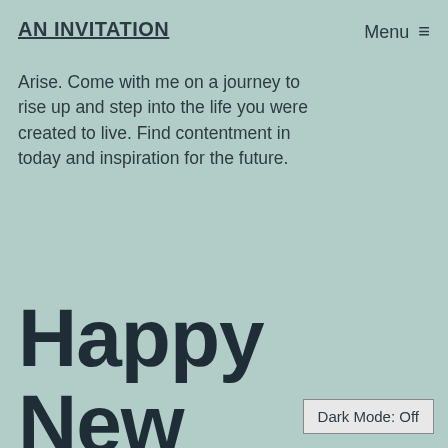AN INVITATION   Menu ≡
Arise. Come with me on a journey to rise up and step into the life you were created to live. Find contentment in today and inspiration for the future.
Happy New Year! Celebrate…